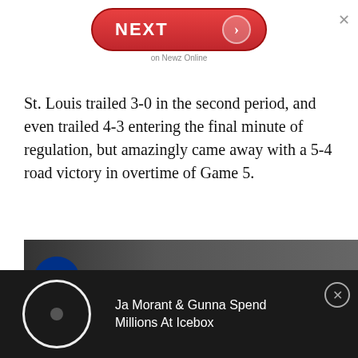[Figure (screenshot): Red NEXT button with arrow, labeled 'on Newz Online' below, and an X close button to the right]
St. Louis trailed 3-0 in the second period, and even trailed 4-3 entering the final minute of regulation, but amazingly came away with a 5-4 road victory in overtime of Game 5.
[Figure (screenshot): Video thumbnail showing SN (Sportsnet) logo, title 'SN GAME 5 HIGHLIGHTS' and subtitle 'NHL Game 5 Highlights | Blues vs...' with a three-dot menu icon]
Ja Morant & Gunna Spend Millions At Icebox